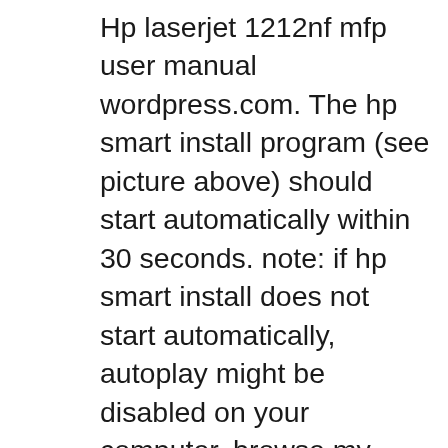Hp laserjet 1212nf mfp user manual wordpress.com. The hp smart install program (see picture above) should start automatically within 30 seconds. note: if hp smart install does not start automatically, autoplay might be disabled on your computer. browse my computer and double-click the hp smart install cd drive. double-click the sisetup.exe file to run the program to install the product.. Hp laserjet 1212nf mfp user manual hp laserjet pro m1212nf, m1213nf, m1217nfw, and m1219nf multifunction printers - a 'supply memory error' message displays on the printer control panel. download all in one printer user's manual of hp laserjet pro m1212nf multifunction